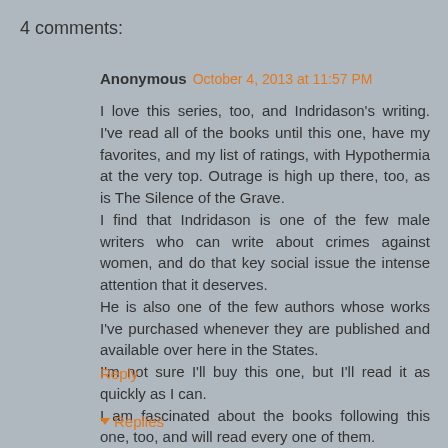4 comments:
Anonymous October 4, 2013 at 11:57 PM
I love this series, too, and Indridason's writing. I've read all of the books until this one, have my favorites, and my list of ratings, with Hypothermia at the very top. Outrage is high up there, too, as is The Silence of the Grave.
I find that Indridason is one of the few male writers who can write about crimes against women, and do that key social issue the intense attention that it deserves.
He is also one of the few authors whose works I've purchased whenever they are published and available over here in the States.
I'm not sure I'll buy this one, but I'll read it as quickly as I can.
I am fascinated about the books following this one, too, and will read every one of them.
Reply
Replies